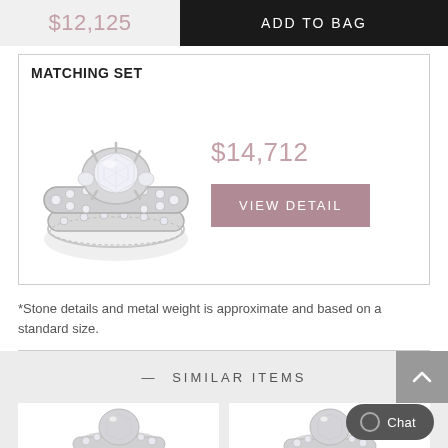$12,125
ADD TO BAG
MATCHING SET
[Figure (photo): Diamond bridal ring set with large center stone and pave-set band, silver/white gold]
$14,712
VIEW DETAIL
*Stone details and metal weight is approximate and based on a standard size.
— SIMILAR ITEMS
[Figure (photo): Diamond solitaire ring with ornate band, similar item 1]
[Figure (photo): Diamond ring, similar item 2]
Chat